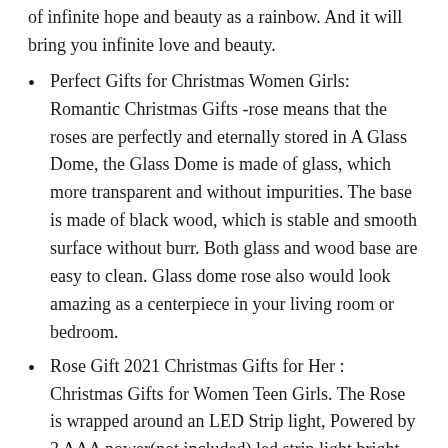of infinite hope and beauty as a rainbow. And it will bring you infinite love and beauty.
Perfect Gifts for Christmas Women Girls: Romantic Christmas Gifts -rose means that the roses are perfectly and eternally stored in A Glass Dome, the Glass Dome is made of glass, which more transparent and without impurities. The base is made of black wood, which is stable and smooth surface without burr. Both glass and wood base are easy to clean. Glass dome rose also would look amazing as a centerpiece in your living room or bedroom.
Rose Gift 2021 Christmas Gifts for Her : Christmas Gifts for Women Teen Girls. The Rose is wrapped around an LED Strip light, Powered by 3 AAA power(not included),led strip light bright warm white lighting. LED rose light can use in daytime and nighttime for home room decorations or create romantic atmosphere, Led glass rose is a symbol of appreciation, best wishes, forever love, passionate and